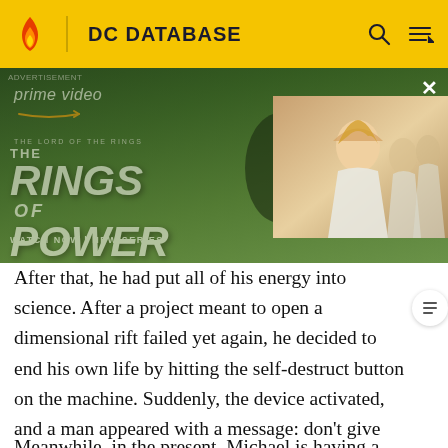DC DATABASE
[Figure (photo): Amazon Prime Video advertisement for 'The Lord of the Rings: The Rings of Power' showing two actors in fantasy costume on a green landscape background, with a second photo panel showing a blonde woman in white robes with others behind her. Text reads: ADVERTISEMENT, prime video, THE LORD OF THE RINGS THE RINGS OF POWER, WATCH NOW | NEW SERIES]
After that, he had put all of his energy into science. After a project meant to open a dimensional rift failed yet again, he decided to end his own life by hitting the self-destruct button on the machine. Suddenly, the device activated, and a man appeared with a message: don't give up. The man was sent to remind Michael to educate the world, because the future depends on it. Before leaving, the man reveals that he is Michael's son.
Meanwhile, in the present, Michael is having a sequel...